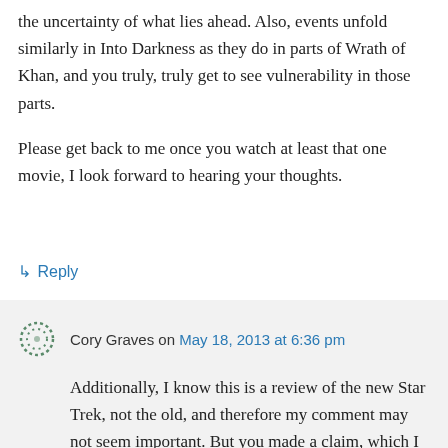the uncertainty of what lies ahead. Also, events unfold similarly in Into Darkness as they do in parts of Wrath of Khan, and you truly, truly get to see vulnerability in those parts.
Please get back to me once you watch at least that one movie, I look forward to hearing your thoughts.
↳ Reply
Cory Graves on May 18, 2013 at 6:36 pm
Additionally, I know this is a review of the new Star Trek, not the old, and therefore my comment may not seem important. But you made a claim, which I have found to be